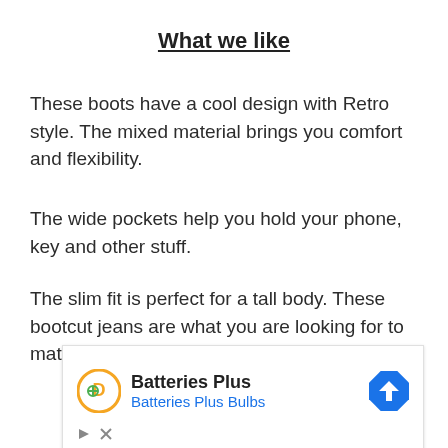What we like
These boots have a cool design with Retro style. The mixed material brings you comfort and flexibility.
The wide pockets help you hold your phone, key and other stuff.
The slim fit is perfect for a tall body. These bootcut jeans are what you are looking for to match your cowboy boots.
[Figure (other): Advertisement banner for Batteries Plus / Batteries Plus Bulbs with logo, navigation icon, and ad controls]